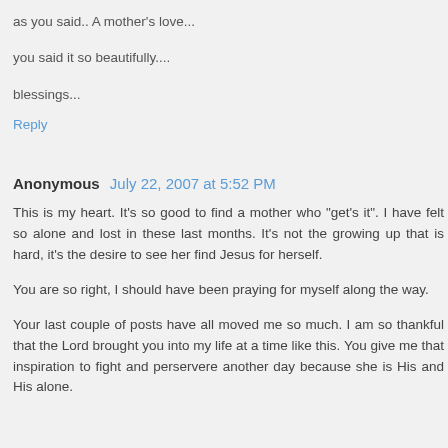as you said.. A mother's love...
you said it so beautifully....
blessings...
Reply
Anonymous  July 22, 2007 at 5:52 PM
This is my heart. It's so good to find a mother who "get's it". I have felt so alone and lost in these last months. It's not the growing up that is hard, it's the desire to see her find Jesus for herself.
You are so right, I should have been praying for myself along the way.
Your last couple of posts have all moved me so much. I am so thankful that the Lord brought you into my life at a time like this. You give me that inspiration to fight and perservere another day because she is His and His alone.